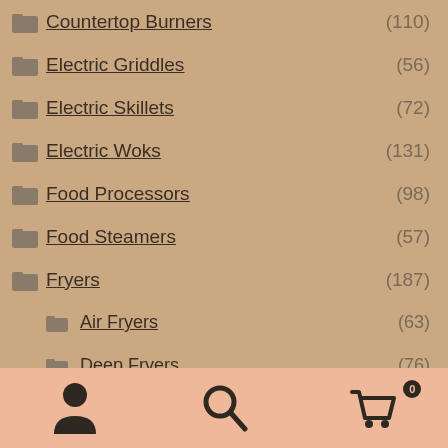Countertop Burners (110)
Electric Griddles (56)
Electric Skillets (72)
Electric Woks (131)
Food Processors (98)
Food Steamers (57)
Fryers (187)
Air Fryers (63)
Deep Fryers (76)
Hot Pots (79)
[Figure (infographic): Bottom navigation bar with person icon, search icon, and shopping cart icon with badge showing 0]